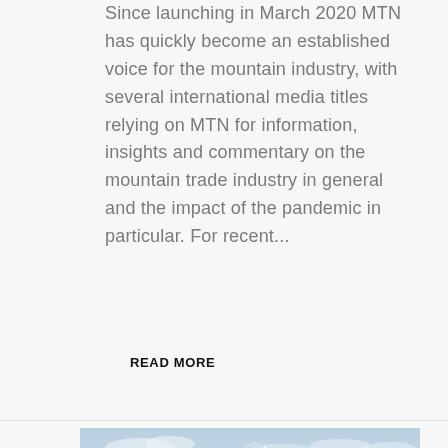Since launching in March 2020 MTN has quickly become an established voice for the mountain industry, with several international media titles relying on MTN for information, insights and commentary on the mountain trade industry in general and the impact of the pandemic in particular. For recent...
READ MORE
[Figure (photo): Mountain peak covered in snow with blue sky and clouds in the background]